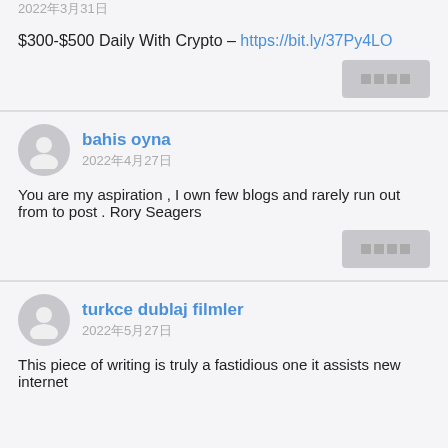2022年3月31日
$300-$500 Daily With Crypto – https://bit.ly/37Py4LO
[Figure (other): Reply button placeholder (gray rectangle)]
bahis oyna
2022年4月27日
You are my aspiration , I own few blogs and rarely run out from to post . Rory Seagers
[Figure (other): Reply button placeholder (gray rectangle)]
turkce dublaj filmler
2022年5月27日
This piece of writing is truly a fastidious one it assists new internet